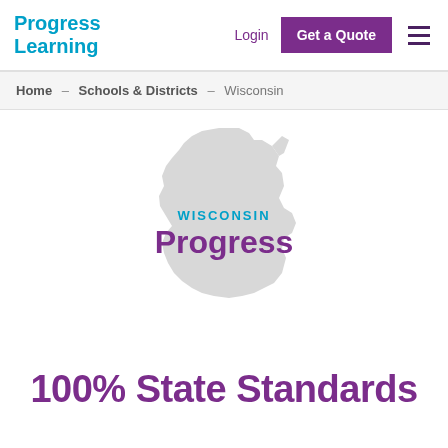Progress Learning | Login | Get a Quote
Home – Schools & Districts – Wisconsin
[Figure (illustration): Gray silhouette map of the state of Wisconsin with 'WISCONSIN Progress' text overlay. 'WISCONSIN' in teal/cyan bold caps, 'Progress' in large purple bold font.]
100% State Standards